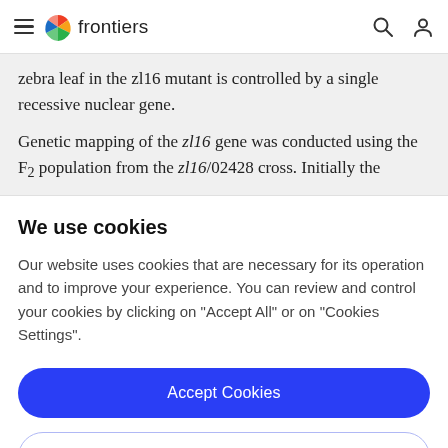frontiers
zebra leaf in the zl16 mutant is controlled by a single recessive nuclear gene.
Genetic mapping of the zl16 gene was conducted using the F2 population from the zl16/02428 cross. Initially the
We use cookies
Our website uses cookies that are necessary for its operation and to improve your experience. You can review and control your cookies by clicking on "Accept All" or on "Cookies Settings".
Accept Cookies
Cookies Settings